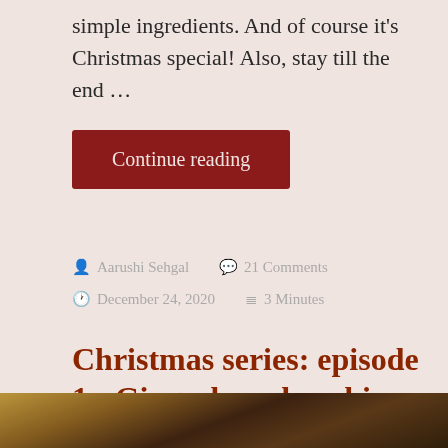simple ingredients. And of course it’s Christmas special! Also, stay till the end …
Continue reading
Aarushi Sehgal   21 Comments   December 24, 2020   3 Minutes
Christmas series: episode 1 : Gingerbread cookies and kul kuls: 🌲 🌲 🌲
[Figure (photo): Bottom strip showing a dark warm-toned photo, partially visible at the bottom of the page]